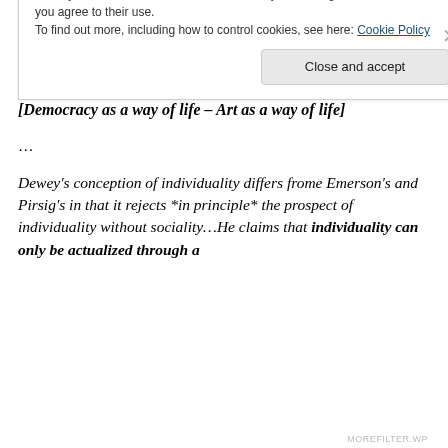says repeatedly, is something continually to strive for, a never-ending experiment in associated living rather than a static achievement or legacy to be bequeathed. As such it requires strong, educated, imaginative individuals.
[Democracy as a way of life – Art as a way of life]
…
Dewey's conception of individuality differs frome Emerson's and Pirsig's in that it rejects *in principle* the prospect of individuality without sociality…He claims that individuality can only be actualized through a
Privacy & Cookies: This site uses cookies. By continuing to use this website, you agree to their use.
To find out more, including how to control cookies, see here: Cookie Policy